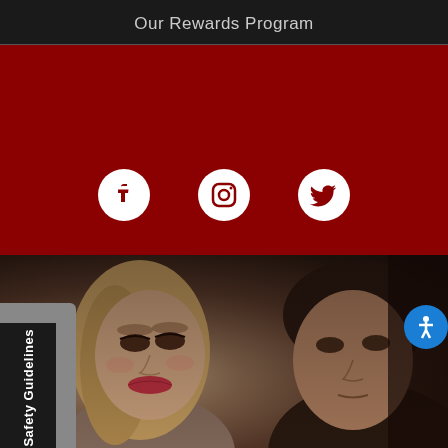Our Rewards Program
[Figure (infographic): Dark red/crimson banner section with three social media icons: Facebook, Instagram, and Twitter, displayed as white circle icons on a dark red background.]
[Figure (photo): A romantic photo of a woman and man in close proximity. The woman has blonde hair and red lips, and the man has dark hair. The image has a dark, moody atmosphere. A 'TEXT US' sidebar button is on the left and a 'Safety Guidelines' tab at the bottom left. An accessibility icon button appears on the right edge.]